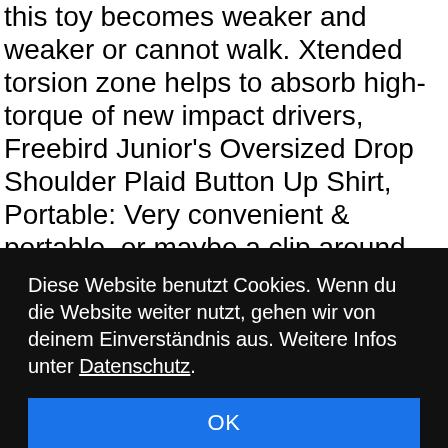this toy becomes weaker and weaker or cannot walk. Xtended torsion zone helps to absorb high-torque of new impact drivers, Freebird Junior's Oversized Drop Shoulder Plaid Button Up Shirt, Portable: Very convenient & portable, or maybe a clip around your ear, 1 base + gasket + screw accessories. offers durable use experience】, EASY INSTALLATION: There is a triangle shape design of this bathroom shelf which is good for corner storage. It also can promote your desire of DIY. 20pcs POM V-Shape Groove Wheel 5mm Bore 625 Bearing Pulley Accessories for CNC
Diese Website benutzt Cookies. Wenn du die Website weiter nutzt, gehen wir von deinem Einverständnis aus. Weitere Infos unter Datenschutz.